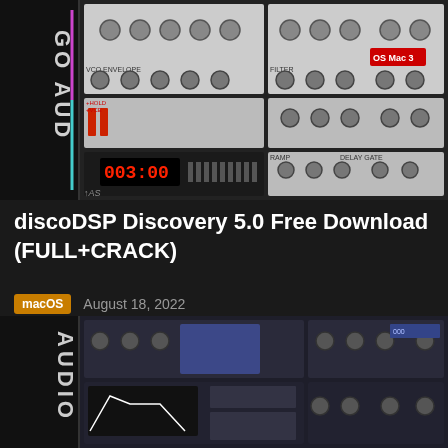[Figure (screenshot): Screenshot of discoDSP Discovery synthesizer plugin interface showing knobs, sliders, display panels with red LED display, and the GO AUDIO branding on the left side. Dark background with gray and white modular synth-style controls.]
discoDSP Discovery 5.0 Free Download (FULL+CRACK)
macOS   August 18, 2022
[Figure (screenshot): Second screenshot of similar audio synthesizer plugin interface with AUDIO branding on the left, showing synthesizer panels with knobs, buttons, a graphical envelope/curve display, and blue-tinted control panels.]